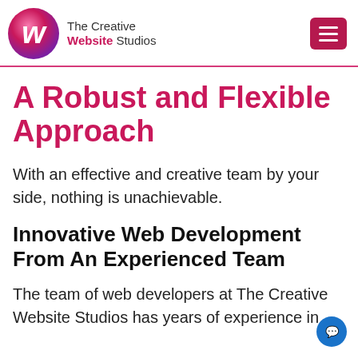The Creative Website Studios
A Robust and Flexible Approach
With an effective and creative team by your side, nothing is unachievable.
Innovative Web Development From An Experienced Team
The team of web developers at The Creative Website Studios has years of experience in